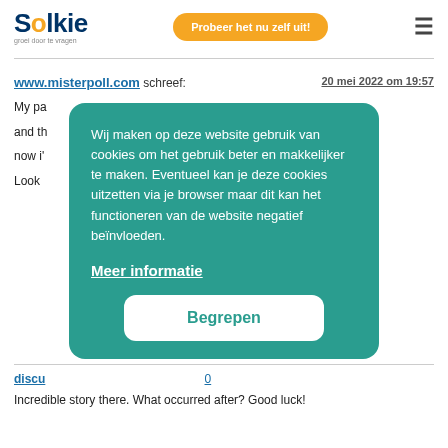Solkie — groei door te vragen | Probeer het nu zelf uit!
www.misterpoll.com schreef:
20 mei 2022 om 19:57
My pa... and th... now i'... Look t...
[Figure (screenshot): Cookie consent overlay with teal background. Text: 'Wij maken op deze website gebruik van cookies om het gebruik beter en makkelijker te maken. Eventueel kan je deze cookies uitzetten via je browser maar dit kan het functioneren van de website negatief beïnvloeden.' Link: 'Meer informatie'. Button: 'Begrepen']
discu...
Incredible story there. What occurred after? Good luck!